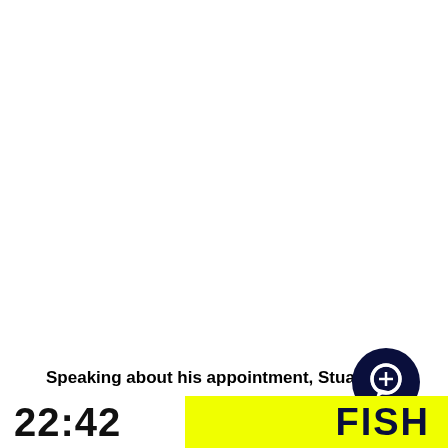Speaking about his appointment, Stuart said:
[Figure (illustration): Dark navy circle icon with white speech/chat bubble symbol]
22:42   FISH